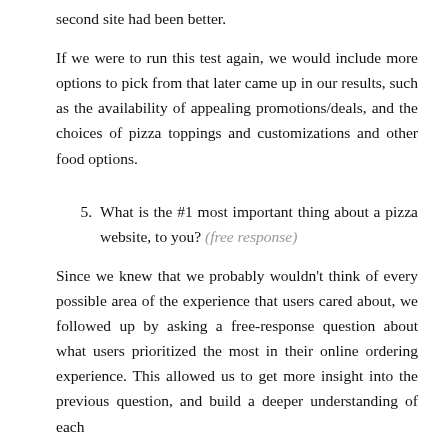second site had been better.
If we were to run this test again, we would include more options to pick from that later came up in our results, such as the availability of appealing promotions/deals, and the choices of pizza toppings and customizations and other food options.
5. What is the #1 most important thing about a pizza website, to you? (free response)
Since we knew that we probably wouldn't think of every possible area of the experience that users cared about, we followed up by asking a free-response question about what users prioritized the most in their online ordering experience. This allowed us to get more insight into the previous question, and build a deeper understanding of each